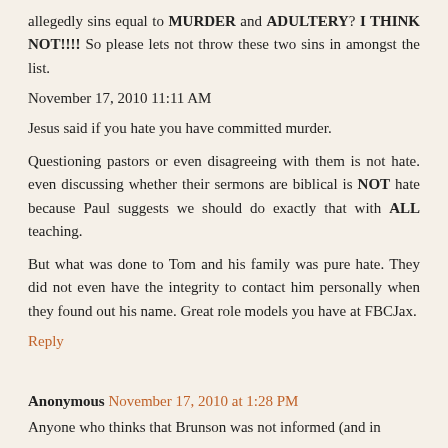allegedly sins equal to MURDER and ADULTERY? I THINK NOT!!!! So please lets not throw these two sins in amongst the list.
November 17, 2010 11:11 AM
Jesus said if you hate you have committed murder.
Questioning pastors or even disagreeing with them is not hate. even discussing whether their sermons are biblical is NOT hate because Paul suggests we should do exactly that with ALL teaching.
But what was done to Tom and his family was pure hate. They did not even have the integrity to contact him personally when they found out his name. Great role models you have at FBCJax.
Reply
Anonymous November 17, 2010 at 1:28 PM
Anyone who thinks that Brunson was not informed (and in